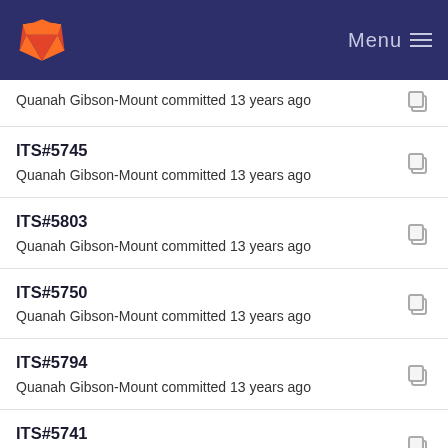GitLab — Menu
Quanah Gibson-Mount committed 13 years ago
ITS#5745
Quanah Gibson-Mount committed 13 years ago
ITS#5803
Quanah Gibson-Mount committed 13 years ago
ITS#5750
Quanah Gibson-Mount committed 13 years ago
ITS#5794
Quanah Gibson-Mount committed 13 years ago
ITS#5741
Quanah Gibson-Mount committed 13 years ago
ITS#5750
Quanah Gibson-Mount committed 13 years ago
More wording tweaks
Howard Chu committed 13 years ago